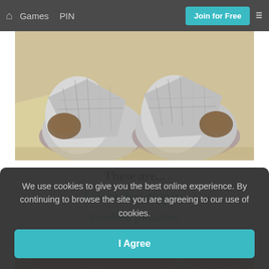🏠   Games   PIN   Join for Free   ☰
[Figure (photo): Two shoes wrapped in aluminum/tin foil sitting on a light-colored floor surface]
These are...
French fry slippers
mashed potatoes
We use cookies to give you the best online experience. By continuing to browse the site you are agreeing to our use of cookies.
I Agree